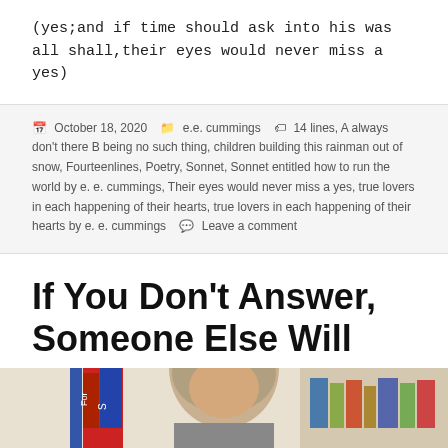(yes;and if time should ask into his was
all shall,their eyes would never miss a yes)
October 18, 2020   e.e. cummings   14 lines, A always don't there B being no such thing, children building this rainman out of snow, Fourteenlines, Poetry, Sonnet, Sonnet entitled how to run the world by e. e. cummings, Their eyes would never miss a yes, true lovers in each happening of their hearts, true lovers in each happening of their hearts by e. e. cummings   Leave a comment
If You Don't Answer, Someone Else Will
[Figure (photo): Partial photo of a woman with blonde-gray hair in front of bookshelves, cropped at the bottom of the page.]